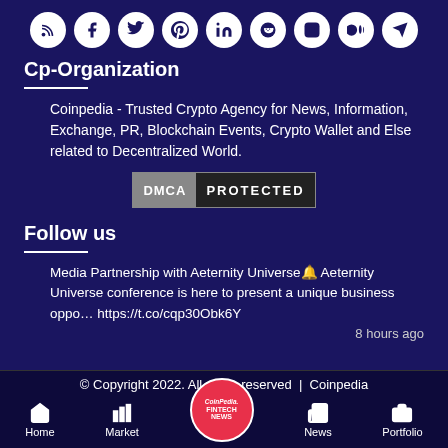[Figure (illustration): Row of 9 social media icons (RSS, Facebook, Twitter, Pinterest, LinkedIn, Reddit, Instagram, Medium, Telegram) as white circles on dark blue background]
Cp-Organization
Coinpedia - Trusted Crypto Agency for News, Information, Exchange, PR, Blockchain Events, Crypto Wallet and Else related to Decentralized World.
[Figure (logo): DMCA PROTECTED badge]
Follow us
Media Partnership with Aeternity Universe🔔 Aeternity Universe conference is here to present a unique business oppo… https://t.co/cqp30Obk6Y
8 hours ago
© Copyright 2022. All rights reserved | Coinpedia | Home | Market | News | Portfolio